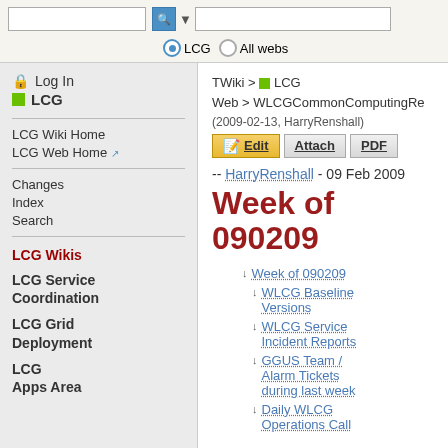Search bar with LCG / All webs options
Log In
LCG
LCG Wiki Home
LCG Web Home
Changes
Index
Search
LCG Wikis
LCG Service Coordination
LCG Grid Deployment
LCG Apps Area
TWiki > LCG Web > WLCGCommonComputingRe (2009-02-13, HarryRenshall)
-- HarryRenshall - 09 Feb 2009
Week of 090209
Week of 090209
WLCG Baseline Versions
WLCG Service Incident Reports
GGUS Team / Alarm Tickets during last week
Daily WLCG Operations Call